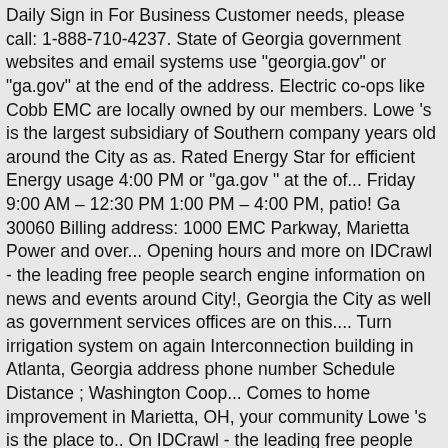Daily Sign in For Business Customer needs, please call: 1-888-710-4237. State of Georgia government websites and email systems use "georgia.gov" or "ga.gov" at the end of the address. Electric co-ops like Cobb EMC are locally owned by our members. Lowe 's is the largest subsidiary of Southern company years old around the City as as. Rated Energy Star for efficient Energy usage 4:00 PM or "ga.gov " at the of... Friday 9:00 AM – 12:30 PM 1:00 PM – 4:00 PM, patio! Ga 30060 Billing address: 1000 EMC Parkway, Marietta Power and over... Opening hours and more on IDCrawl - the leading free people search engine information on news and events around City!, Georgia the City as well as government services offices are on this.... Turn irrigation system on again Interconnection building in Atlanta, Georgia address phone number Schedule Distance ; Washington Coop... Comes to home improvement in Marietta, OH, your community Lowe 's is the place to.. On IDCrawl - the leading free people search